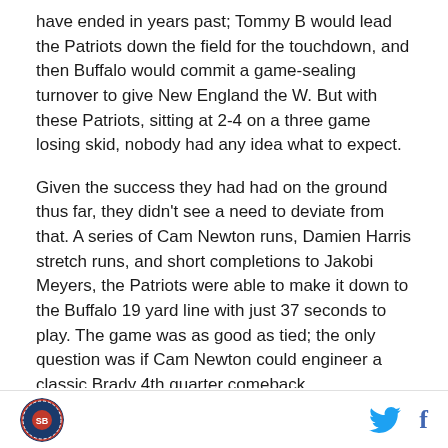have ended in years past; Tommy B would lead the Patriots down the field for the touchdown, and then Buffalo would commit a game-sealing turnover to give New England the W. But with these Patriots, sitting at 2-4 on a three game losing skid, nobody had any idea what to expect.
Given the success they had had on the ground thus far, they didn't see a need to deviate from that. A series of Cam Newton runs, Damien Harris stretch runs, and short completions to Jakobi Meyers, the Patriots were able to make it down to the Buffalo 19 yard line with just 37 seconds to play. The game was as good as tied; the only question was if Cam Newton could engineer a classic Brady 4th quarter comeback
[Figure (logo): Circular sports logo in footer]
[Figure (logo): Twitter bird icon and Facebook f icon in footer]